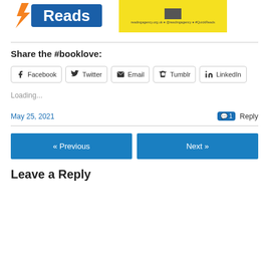[Figure (logo): Quick Reads logo on left, yellow banner with small icon and text 'readingagency.org.uk @readingagency #QuickReads' on right]
Share the #booklove:
Facebook  Twitter  Email  Tumblr  LinkedIn
Loading...
May 25, 2021
1 Reply
« Previous
Next »
Leave a Reply